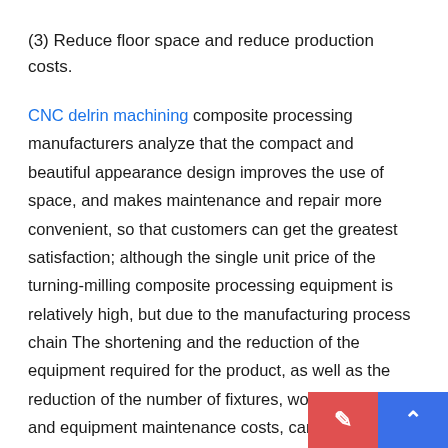(3) Reduce floor space and reduce production costs.
CNC delrin machining composite processing manufacturers analyze that the compact and beautiful appearance design improves the use of space, and makes maintenance and repair more convenient, so that customers can get the greatest satisfaction; although the single unit price of the turning-milling composite processing equipment is relatively high, but due to the manufacturing process chain The shortening and the reduction of the equipment required for the product, as well as the reduction of the number of fixtures, workshop area and equipment maintenance costs, can effectively reduce overall fixed asset investment, production operation and